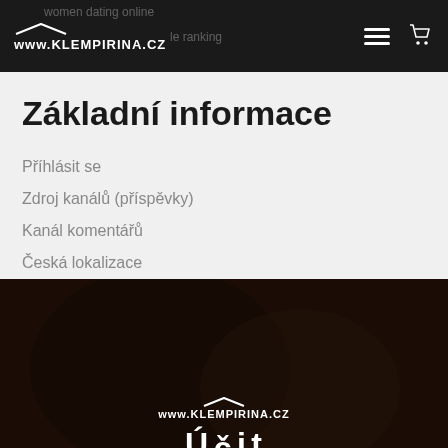www.KLEMPIRINA.CZ
Základní informace
Příhlásit se
Zdroj kanálů (příspěvky)
Kanál komentářů
Česká lokalizace
[Figure (photo): Dark background image with person in dark clothing, with www.KLEMPIRINA.CZ logo overlay and partial heading text at bottom.]